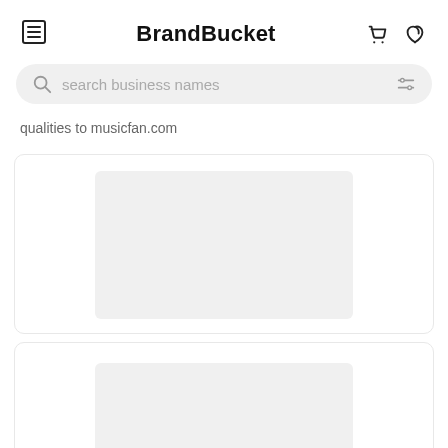BrandBucket
search business names
qualities to musicfan.com
[Figure (screenshot): Card placeholder with grey image area]
[Figure (screenshot): Card placeholder with grey image area (partially visible)]